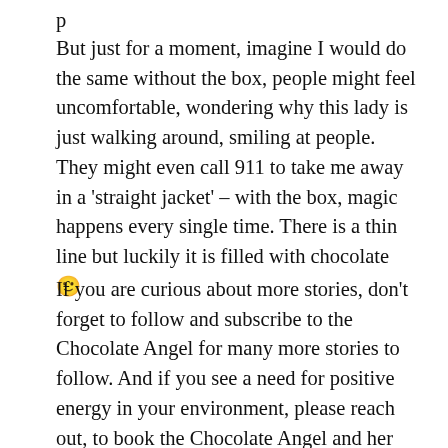But just for a moment, imagine I would do the same without the box, people might feel uncomfortable, wondering why this lady is just walking around, smiling at people. They might even call 911 to take me away in a 'straight jacket' – with the box, magic happens every single time. There is a thin line but luckily it is filled with chocolate 🙂
If you are curious about more stories, don't forget to follow and subscribe to the Chocolate Angel for many more stories to follow. And if you see a need for positive energy in your environment, please reach out, to book the Chocolate Angel and her